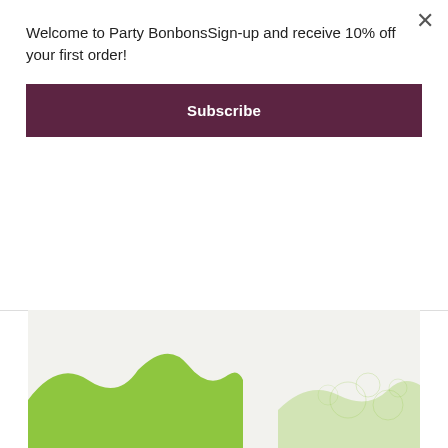Welcome to Party BonbonsSign-up and receive 10% off your first order!
Subscribe
PRICE $1.50
PICK OPTIONS
[Figure (photo): Product image showing lime green colored items or decorations on a light background]